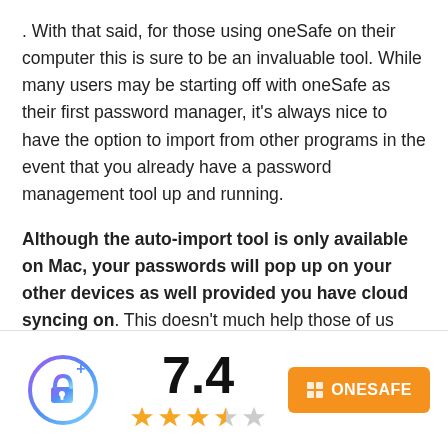. With that said, for those using oneSafe on their computer this is sure to be an invaluable tool. While many users may be starting off with oneSafe as their first password manager, it's always nice to have the option to import from other programs in the event that you already have a password management tool up and running.
Although the auto-import tool is only available on Mac, your passwords will pop up on your other devices as well provided you have cloud syncing on. This doesn't much help those of us who don't have a Mac computer laying around, but for those who do, it's quite nice.
[Figure (logo): oneSafe app logo: a circular gradient icon with a lock/key symbol and a plus sign]
7.4
[Figure (other): Star rating: 3.5 out of 5 stars (3 full gold stars, 1 half gold star, 1 grey star)]
⊞ ONESAFE